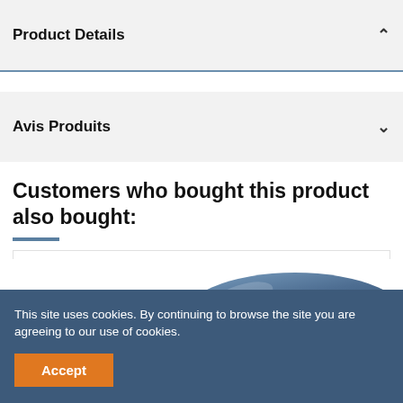Product Details
Avis Produits
Customers who bought this product also bought:
[Figure (photo): Partial view of a product (spherical/dome-shaped object with blue and gold coloring) visible beneath a cookie consent banner overlay.]
This site uses cookies. By continuing to browse the site you are agreeing to our use of cookies.